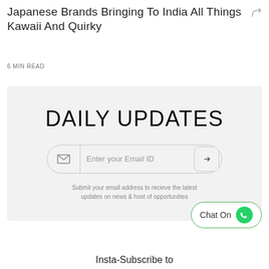Japanese Brands Bringing To India All Things Kawaii And Quirky
6 MIN READ
[Figure (infographic): Daily Updates email subscription widget with envelope icon, email input field, submit arrow button, and helper text 'Submit your email address to recieve the latest updates on news & host of opportunities']
[Figure (other): Chat On WhatsApp button with green WhatsApp logo icon]
Insta-Subscribe to